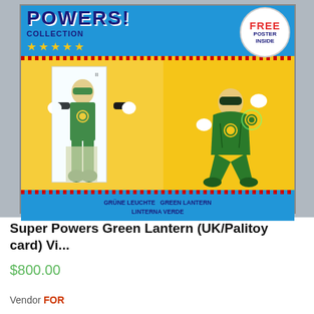[Figure (photo): Super Powers Green Lantern action figure in original UK/Palitoy card packaging. The card has a blue header reading 'POWERS COLLECTION' with yellow stars and a 'FREE POSTER INSIDE' badge. The yellow card body shows the green-costumed figure in a blister pack on the left and a comic illustration of Green Lantern on the right. The blue bottom stripe reads 'GRUNE LEUCHTE  GREEN LANTERN  LINTERNA VERDE'.]
Super Powers Green Lantern (UK/Palitoy card) Vi...
$800.00
Vendor FOR